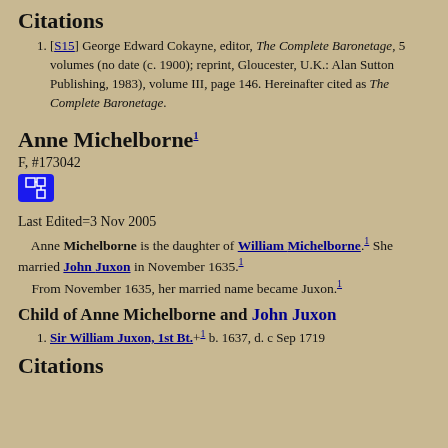Citations
[S15] George Edward Cokayne, editor, The Complete Baronetage, 5 volumes (no date (c. 1900); reprint, Gloucester, U.K.: Alan Sutton Publishing, 1983), volume III, page 146. Hereinafter cited as The Complete Baronetage.
Anne Michelborne1
F, #173042
Last Edited=3 Nov 2005
Anne Michelborne is the daughter of William Michelborne.1 She married John Juxon in November 1635.1 From November 1635, her married name became Juxon.1
Child of Anne Michelborne and John Juxon
Sir William Juxon, 1st Bt.+1 b. 1637, d. c Sep 1719
Citations